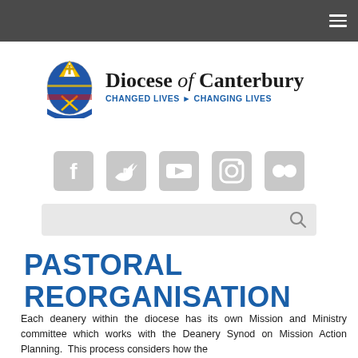Diocese of Canterbury – navigation bar with hamburger menu
[Figure (logo): Diocese of Canterbury logo: bishop's mitre crest on left, text 'Diocese of Canterbury' in large serif font with italic 'of', and tagline 'CHANGED LIVES > CHANGING LIVES' in bold blue sans-serif below]
[Figure (infographic): Row of five social media icons: Facebook, Twitter, YouTube, Instagram, Flickr — all in light grey]
[Figure (screenshot): Search bar with grey background and magnifying glass icon on the right]
PASTORAL REORGANISATION
Each deanery within the diocese has its own Mission and Ministry committee which works with the Deanery Synod on Mission Action Planning.  This process considers how the